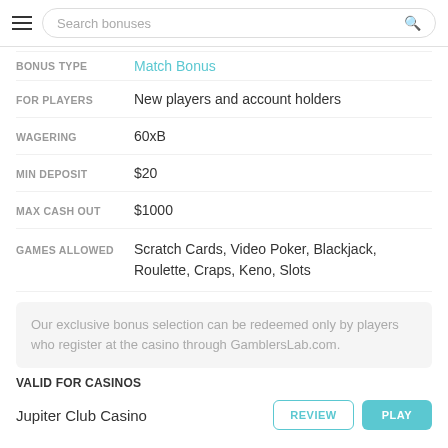Search bonuses
| Field | Value |
| --- | --- |
| BONUS TYPE | Match Bonus |
| FOR PLAYERS | New players and account holders |
| WAGERING | 60xB |
| MIN DEPOSIT | $20 |
| MAX CASH OUT | $1000 |
| GAMES ALLOWED | Scratch Cards, Video Poker, Blackjack, Roulette, Craps, Keno, Slots |
Our exclusive bonus selection can be redeemed only by players who register at the casino through GamblersLab.com.
VALID FOR CASINOS
Jupiter Club Casino